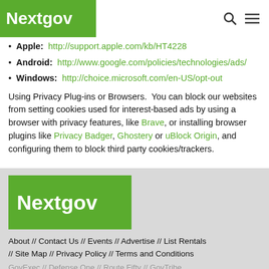Nextgov
Apple:  http://support.apple.com/kb/HT4228
Android:  http://www.google.com/policies/technologies/ads/
Windows:  http://choice.microsoft.com/en-US/opt-out
Using Privacy Plug-ins or Browsers.  You can block our websites from setting cookies used for interest-based ads by using a browser with privacy features, like Brave, or installing browser plugins like Privacy Badger, Ghostery or uBlock Origin, and configuring them to block third party cookies/trackers.
[Figure (logo): Nextgov logo in white text on green background, footer]
About // Contact Us // Events // Advertise // List Rentals // Site Map // Privacy Policy // Terms and Conditions
GovExec // Defense One // Route Fifty // GovTribe